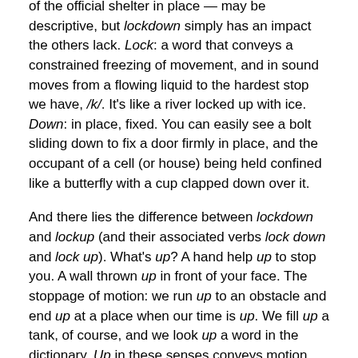of the official shelter in place — may be descriptive, but lockdown simply has an impact the others lack. Lock: a word that conveys a constrained freezing of movement, and in sound moves from a flowing liquid to the hardest stop we have, /k/. It's like a river locked up with ice. Down: in place, fixed. You can easily see a bolt sliding down to fix a door firmly in place, and the occupant of a cell (or house) being held confined like a butterfly with a cup clapped down over it.
And there lies the difference between lockdown and lockup (and their associated verbs lock down and lock up). What's up? A hand help up to stop you. A wall thrown up in front of your face. The stoppage of motion: we run up to an obstacle and end up at a place when our time is up. We fill up a tank, of course, and we look up a word in the dictionary. Up in these senses conveys motion that